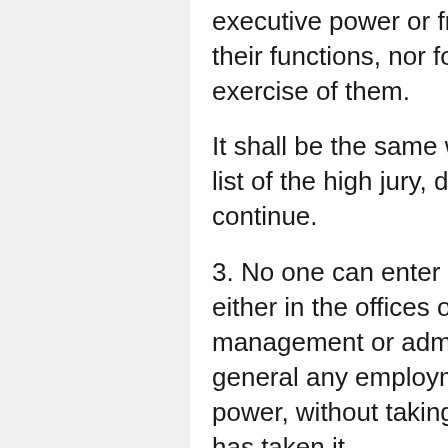executive power or from its agents, during the continuance of their functions, nor for two years after having ceased the exercise of them.
It shall be the same with those who are only enrolled upon the list of the high jury, during the time that their enrollment shall continue.
3. No one can enter upon the exercise of any employment either in the offices of the ministry or in those of the management or administration of the public revenues, nor in general any employment at the nomination of the executive power, without taking the civic oath, or without proving that he has taken it.
4. No order of the king can be executed unless it is signed by him and